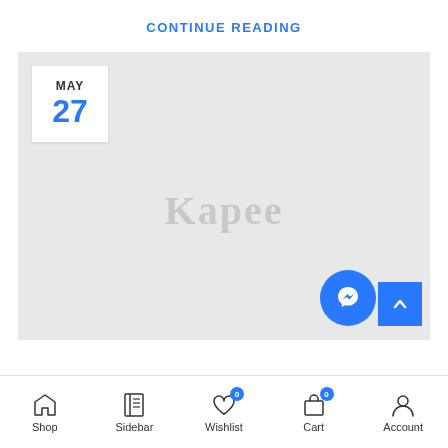CONTINUE READING
[Figure (screenshot): Gray placeholder image area with a white calendar badge showing MAY 27, a Kapee watermark, a Messenger floating button, and a scroll-to-top button in the lower right.]
[Figure (infographic): Bottom navigation bar with icons for Shop, Sidebar, Wishlist (badge: 0), Cart (badge: 0), Account]